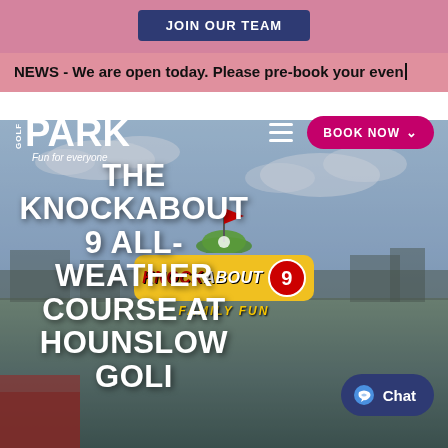[Figure (screenshot): JOIN OUR TEAM button on pink/mauve background]
NEWS - We are open today. Please pre-book your even
[Figure (logo): Hounslow Golf Park logo - Fun for everyone, with BOOK NOW button and hamburger menu]
[Figure (photo): Aerial photo of Hounslow Golf Park with Knockabout 9 Family Fun logo overlay and 'THE KNOCKABOUT 9 ALL-WEATHER COURSE AT HOUNSLOW GOLF' headline. Chat button visible bottom right.]
THE KNOCKABOUT 9 ALL-WEATHER COURSE AT HOUNSLOW GOLF